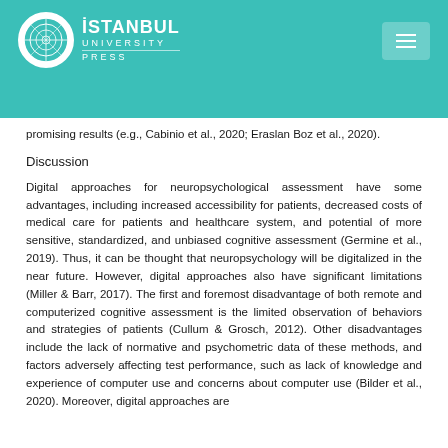Istanbul University Press
promising results (e.g., Cabinio et al., 2020; Eraslan Boz et al., 2020).
Discussion
Digital approaches for neuropsychological assessment have some advantages, including increased accessibility for patients, decreased costs of medical care for patients and healthcare system, and potential of more sensitive, standardized, and unbiased cognitive assessment (Germine et al., 2019). Thus, it can be thought that neuropsychology will be digitalized in the near future. However, digital approaches also have significant limitations (Miller & Barr, 2017). The first and foremost disadvantage of both remote and computerized cognitive assessment is the limited observation of behaviors and strategies of patients (Cullum & Grosch, 2012). Other disadvantages include the lack of normative and psychometric data of these methods, and factors adversely affecting test performance, such as lack of knowledge and experience of computer use and concerns about computer use (Bilder et al., 2020). Moreover, digital approaches are